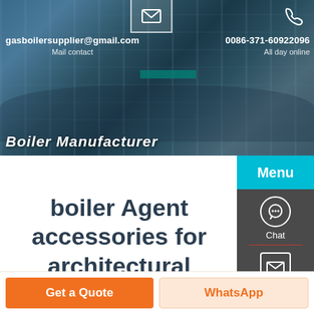[Figure (screenshot): Industrial facility/boiler plant background image in header banner]
gasboilersupplier@gmail.com   0086-371-60922096
Mail contact   All day online
Boiler Manufacturer
Menu
boiler Agent accessories for architectural material industry
Chat
Email
Contact
Get a Quote
WhatsApp